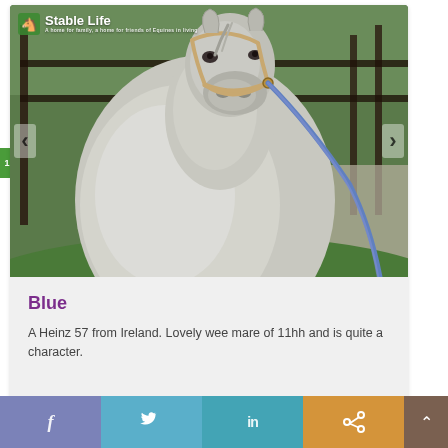[Figure (photo): A grey horse wearing a tan halter with a blue lead rope, photographed face-on close up, standing in front of a wooden fence with green foliage in background. Stable Life logo overlay in top left corner.]
Blue
A Heinz 57 from Ireland. Lovely wee mare of 11hh and is quite a character.
Facebook  Twitter  LinkedIn  Share  Up